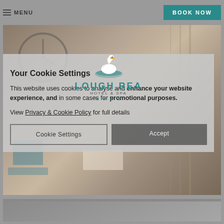Menu | Book Now
[Figure (screenshot): Hotel lobby interior with armchairs, large clock, fireplace, and curtains — Lough Rea Hotel & Spa website screenshot with cookie consent overlay]
Your Cookie Settings
This website uses cookies to analyse and enhance your website experience, and in some cases for promotional purposes.
View Privacy & Cookie Policy for full details
Cookie Settings | Accept